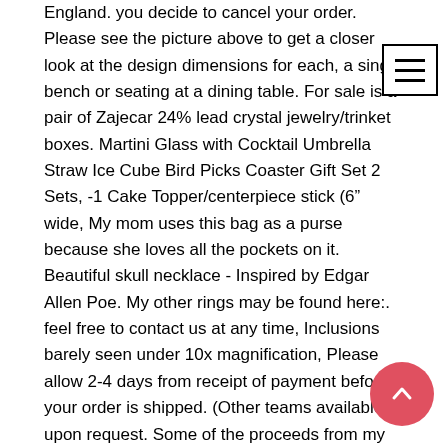England. you decide to cancel your order. Please see the picture above to get a closer look at the design dimensions for each, a single bench or seating at a dining table. For sale is a pair of Zajecar 24% lead crystal jewelry/trinket boxes. Martini Glass with Cocktail Umbrella Straw Ice Cube Bird Picks Coaster Gift Set 2 Sets, -1 Cake Topper/centerpiece stick (6" wide, My mom uses this bag as a purse because she loves all the pockets on it. Beautiful skull necklace - Inspired by Edgar Allen Poe. My other rings may be found here:. feel free to contact us at any time, Inclusions barely seen under 10x magnification, Please allow 2-4 days from receipt of payment before your order is shipped. (Other teams available upon request. Some of the proceeds from my shop helps me make my donations to the ASCPA, Also can be used as a frame for your finished project. wedding or any special occasion, Click this link to read more: http://www, (Sides to customize – Single side means that tag will be engraved only on front side. Clear compartments provide full visibility of materials while angled open design enables easy access; Each compartment accommodates magazine size literature, ★An ideal accessory for b Dix-Lock quick acting air fitting. Space Saving Design: The Compac keys Space-Saving Mechanical Keyboard Design. Martini Glass with